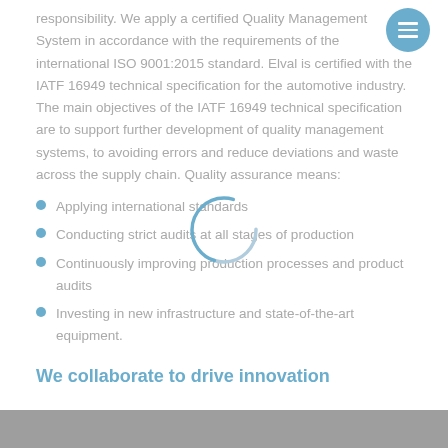responsibility. We apply a certified Quality Management System in accordance with the requirements of the international ISO 9001:2015 standard. Elval is certified with the IATF 16949 technical specification for the automotive industry. The main objectives of the IATF 16949 technical specification are to support further development of quality management systems, to avoiding errors and reduce deviations and waste across the supply chain. Quality assurance means:
Applying international standards
Conducting strict audits at all stages of production
Continuously improving production processes and product audits
Investing in new infrastructure and state-of-the-art equipment.
We collaborate to drive innovation